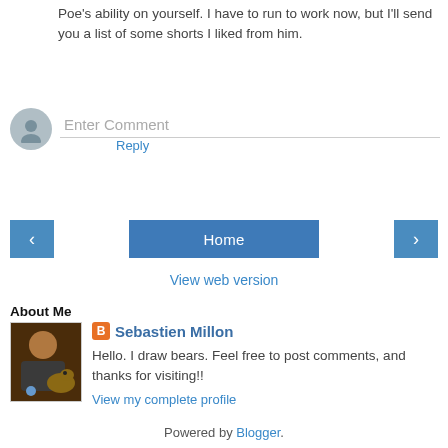Poe's ability on yourself. I have to run to work now, but I'll send you a list of some shorts I liked from him.
Reply
Enter Comment
‹
Home
›
View web version
About Me
[Figure (photo): Profile photo of Sebastien Millon holding a dog]
Sebastien Millon
Hello. I draw bears. Feel free to post comments, and thanks for visiting!!
View my complete profile
Powered by Blogger.